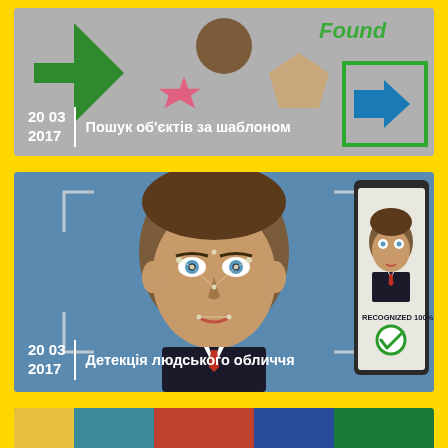[Figure (screenshot): Template matching demo showing colored shapes (green arrow, brown circle, pink star, tan pentagon) on gray background with 'Found' label and blue arrow in green rectangle box. Date: 20 03 2017. Title: Пошук об'єктів за шаблоном]
[Figure (screenshot): Face detection demo showing animated man face with facial detection points and brackets overlay on blue background. Right side shows phone with same man's photo and 'RECOGNIZED 100%' text with green checkmark. Date: 20 03 2017. Title: Детекція людського обличчя]
[Figure (screenshot): Partial bottom card showing colorful content, partially visible]